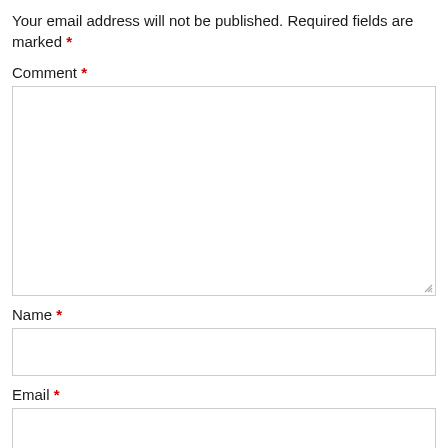Your email address will not be published. Required fields are marked *
Comment *
[Figure (other): Large comment textarea input box]
Name *
[Figure (other): Name text input box]
Email *
[Figure (other): Email text input box (partially visible)]